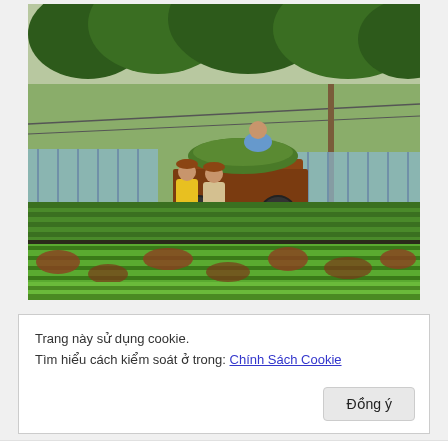[Figure (photo): Agricultural scene with workers on a tractor/cart among rows of green seedling plants in a nursery. Trees and a fence visible in the background. Workers wearing hats.]
Trang này sử dụng cookie.
Tìm hiểu cách kiểm soát ở trong: Chính Sách Cookie